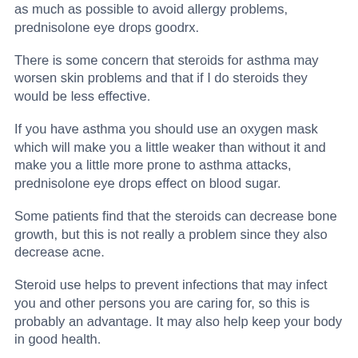as much as possible to avoid allergy problems, prednisolone eye drops goodrx.
There is some concern that steroids for asthma may worsen skin problems and that if I do steroids they would be less effective.
If you have asthma you should use an oxygen mask which will make you a little weaker than without it and make you a little more prone to asthma attacks, prednisolone eye drops effect on blood sugar.
Some patients find that the steroids can decrease bone growth, but this is not really a problem since they also decrease acne.
Steroid use helps to prevent infections that may infect you and other persons you are caring for, so this is probably an advantage. It may also help keep your body in good health.